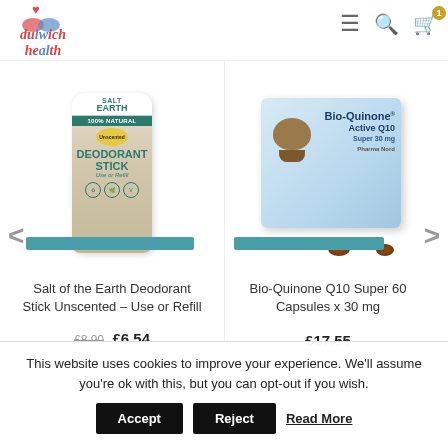[Figure (screenshot): Dulwich Health website header with logo, hamburger menu, search icon, and cart icon with badge showing 1]
[Figure (photo): Salt of the Earth Deodorant Stick Unscented product image]
[Figure (photo): Bio-Quinone Q10 Super 60 Capsules x 30mg product box with capsules]
Salt of the Earth Deodorant Stick Unscented – Use or Refill
Bio-Quinone Q10 Super 60 Capsules x 30 mg
£8.90  £6.54
£17.55
This website uses cookies to improve your experience. We'll assume you're ok with this, but you can opt-out if you wish.
Accept
Reject
Read More